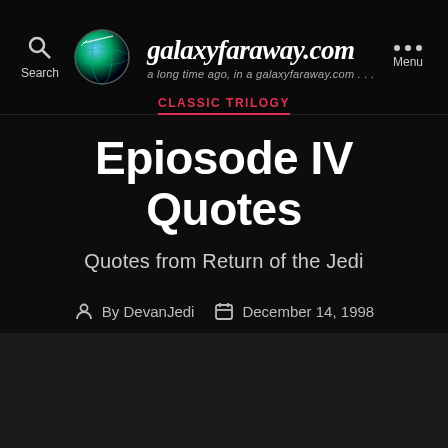galaxyfaraway.com — a long time ago, in a galaxyfaraway.com...
CLASSIC TRILOGY
Epiosode IV Quotes
Quotes from Return of the Jedi
By DevanJedi   December 14, 1998   No Comments